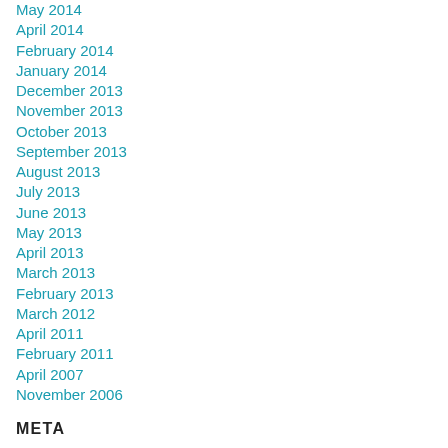May 2014
April 2014
February 2014
January 2014
December 2013
November 2013
October 2013
September 2013
August 2013
July 2013
June 2013
May 2013
April 2013
March 2013
February 2013
March 2012
April 2011
February 2011
April 2007
November 2006
META